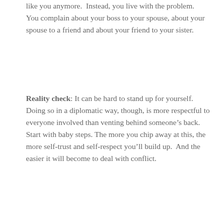like you anymore.  Instead, you live with the problem.  You complain about your boss to your spouse, about your spouse to a friend and about your friend to your sister.
Reality check: It can be hard to stand up for yourself.  Doing so in a diplomatic way, though, is more respectful to everyone involved than venting behind someone's back.  Start with baby steps.  The more you chip away at this, the more self-trust and self-respect you'll build up.  And the easier it will become to deal with conflict.